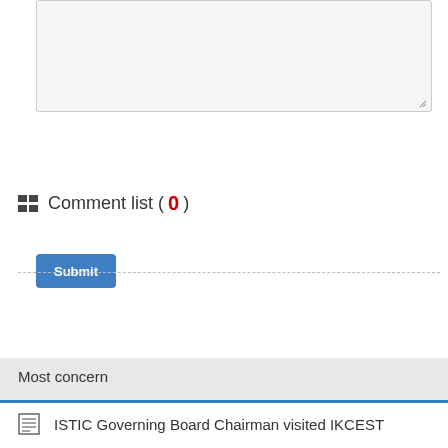[Figure (screenshot): Gray textarea input box (empty) with resize handle at bottom-right]
[Figure (screenshot): Blue Submit button]
Comment list ( 0 )
Most concern
ISTIC Governing Board Chairman visited IKCEST